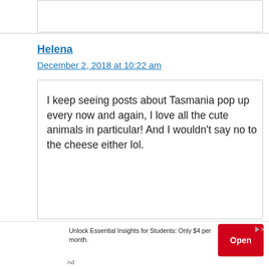[Figure (screenshot): Top portion of a comment input box (cropped, only border visible)]
Helena
December 2, 2018 at 10:22 am
I keep seeing posts about Tasmania pop up every now and again, I love all the cute animals in particular! And I wouldn't say no to the cheese either lol.
[Figure (screenshot): Advertisement banner: Unlock Essential Insights for Students: Only $4 per month. Open button.]